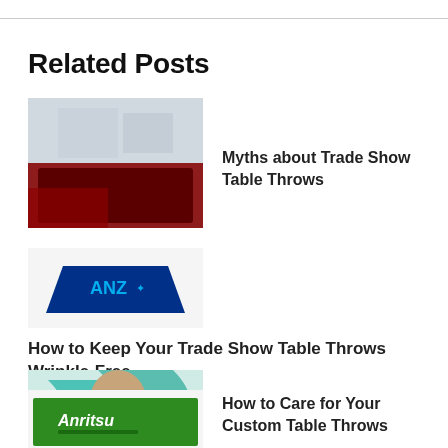Related Posts
[Figure (photo): Trade show table throw draped over a display table in a trade show venue, red/dark fabric visible.]
Myths about Trade Show Table Throws
[Figure (photo): ANZ branded blue table throw on a display table, trapezoidal shape with ANZ logo.]
How to Keep Your Trade Show Table Throws Wrinkle-Free
[Figure (photo): Person holding teal/green fabric, custom table throw material, wavy fabric.]
How to Care for Your Custom Table Throws
[Figure (photo): Green Anritsu branded table throw on a display table, white logo text visible.]